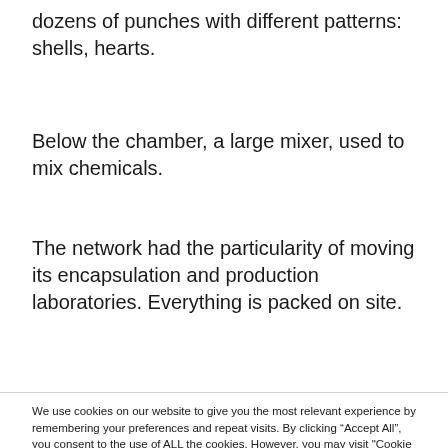dozens of punches with different patterns: shells, hearts.
Below the chamber, a large mixer, used to mix chemicals.
The network had the particularity of moving its encapsulation and production laboratories. Everything is packed on site.
We use cookies on our website to give you the most relevant experience by remembering your preferences and repeat visits. By clicking “Accept All”, you consent to the use of ALL the cookies. However, you may visit "Cookie Settings" to provide a controlled consent.